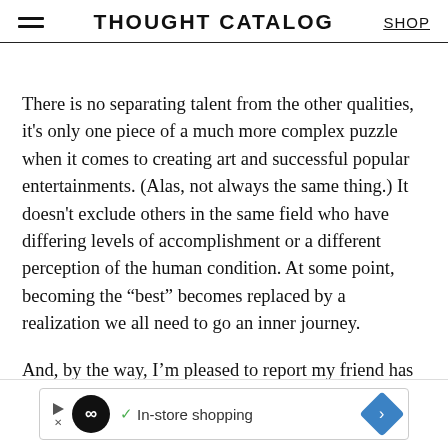THOUGHT CATALOG | SHOP
There is no separating talent from the other qualities, it’s only one piece of a much more complex puzzle when it comes to creating art and successful popular entertainments. (Alas, not always the same thing.) It doesn’t exclude others in the same field who have differing levels of accomplishment or a different perception of the human condition. At some point, becoming the “best” becomes replaced by a realization we all need to go an inner journey.
And, by the way, I’m pleased to report my friend has reconsidered his decision to not write any more, and is about to start work on a new novel.
[Figure (other): Advertisement banner: loop/infinity logo with In-store shopping text and navigation arrow diamond icon]